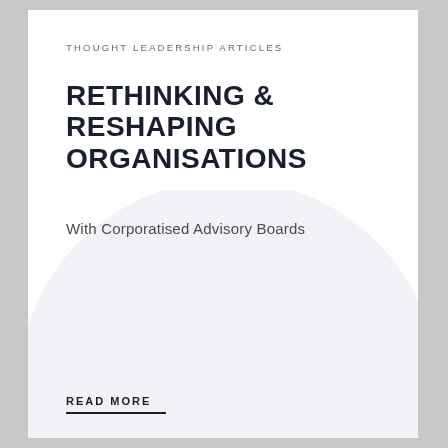THOUGHT LEADERSHIP ARTICLES
RETHINKING & RESHAPING ORGANISATIONS
With Corporatised Advisory Boards
READ MORE